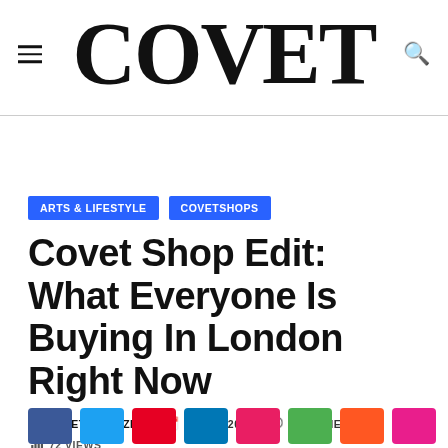COVET
ARTS & LIFESTYLE   COVETSHOPS
Covet Shop Edit: What Everyone Is Buying In London Right Now
BY COVET MAGAZINE   9 JUNE 2022   0 COMMENTS
72 VIEWS